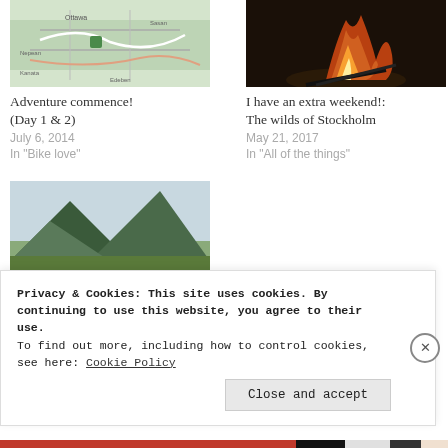[Figure (photo): Map thumbnail showing Ottawa area]
Adventure commence! (Day 1 & 2)
July 6, 2014
In "Bike love"
[Figure (photo): Campfire photo with orange flames]
I have an extra weekend!: The wilds of Stockholm
May 21, 2017
In "All of the things"
[Figure (photo): White flowers with green mountain background]
Bits of Bavarian beauty
July 16, 2016
In "All of the things"
Privacy & Cookies: This site uses cookies. By continuing to use this website, you agree to their use.
To find out more, including how to control cookies, see here: Cookie Policy
Close and accept